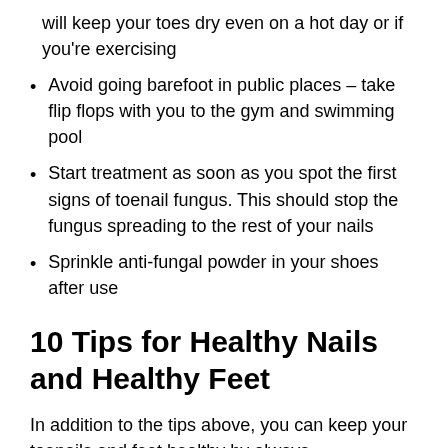will keep your toes dry even on a hot day or if you're exercising
Avoid going barefoot in public places – take flip flops with you to the gym and swimming pool
Start treatment as soon as you spot the first signs of toenail fungus. This should stop the fungus spreading to the rest of your nails
Sprinkle anti-fungal powder in your shoes after use
10 Tips for Healthy Nails and Healthy Feet
In addition to the tips above, you can keep your toenails and feet healthy by always